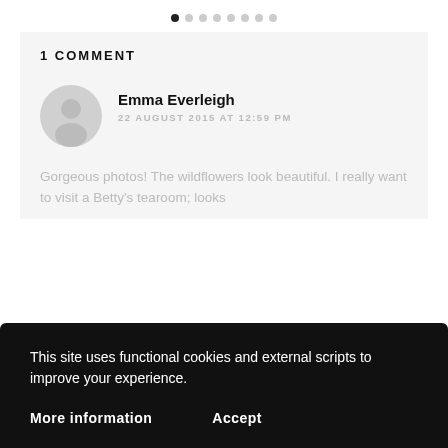[Figure (other): Pagination dots row — 8 circles, first one filled/dark, rest light gray]
1 COMMENT
[Figure (other): User avatar — circular gray silhouette icon of a person]
Emma Everleigh
22 AUGUST 2015 AT 12:59 PM
Gorgeous photos! The wildflowers look beautiful. I really want to visit a Betty's tearoom; looks
This site uses functional cookies and external scripts to improve your experience.
More information
Accept